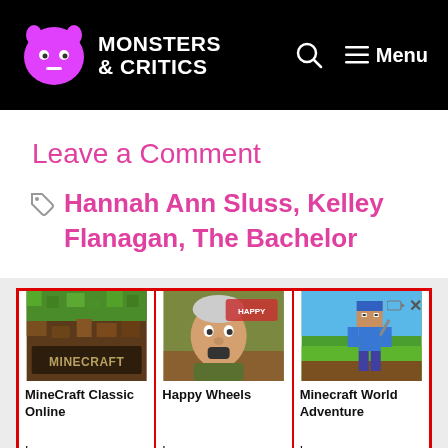Monsters & Critics — Menu
Leave a Comment
Hannah Ann Sluss, Kelley Flanagan, The Bachelor
[Figure (screenshot): Advertisement banner showing three game ads: MineCraft Classic Online, Happy Wheels, and Minecraft World Adventure, each with a game thumbnail image and a 'Learn more' link. Red border around the ad unit.]